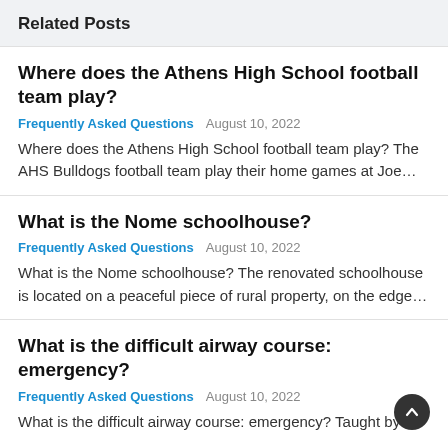Related Posts
Where does the Athens High School football team play?
Frequently Asked Questions   August 10, 2022
Where does the Athens High School football team play? The AHS Bulldogs football team play their home games at Joe…
What is the Nome schoolhouse?
Frequently Asked Questions   August 10, 2022
What is the Nome schoolhouse? The renovated schoolhouse is located on a peaceful piece of rural property, on the edge…
What is the difficult airway course: emergency?
Frequently Asked Questions   August 10, 2022
What is the difficult airway course: emergency? Taught by